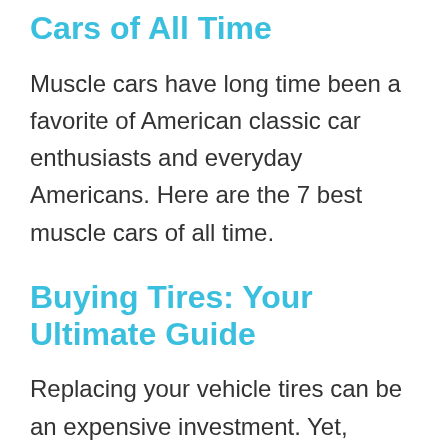Cars of All Time
Muscle cars have long time been a favorite of American classic car enthusiasts and everyday Americans. Here are the 7 best muscle cars of all time.
Buying Tires: Your Ultimate Guide
Replacing your vehicle tires can be an expensive investment. Yet,